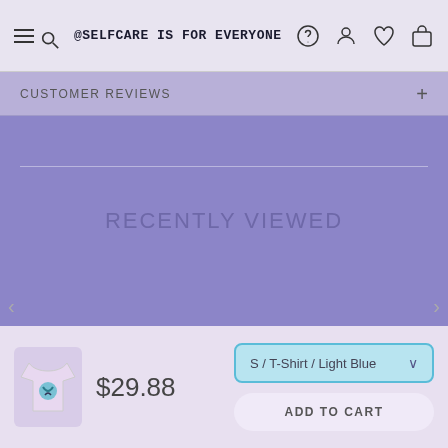@SELFCARE IS FOR EVERYONE
CUSTOMER REVIEWS
RECENTLY VIEWED
$29.88
S / T-Shirt / Light Blue
ADD TO CART